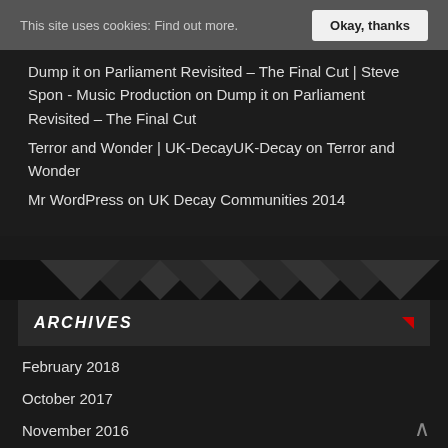This site uses cookies: Find out more. | Okay, thanks
Dump it on Parliament Revisited – The Final Cut | Steve Spon - Music Production on Dump it on Parliament Revisited – The Final Cut
Terror and Wonder | UK-DecayUK-Decay on Terror and Wonder
Mr WordPress on UK Decay Communities 2014
ARCHIVES
February 2018
October 2017
November 2016
June 2016
November 2015
August 2015